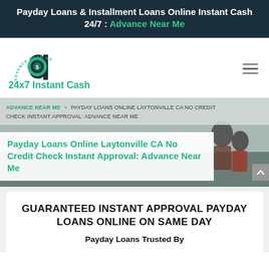Payday Loans & Installment Loans Online Instant Cash 24/7 : Advance Near Me
[Figure (logo): Advance Near Me logo — circular teal and navy emblem with dollar sign and text '24x7 Instant Cash']
ADVANCE NEAR ME > PAYDAY LOANS ONLINE LAYTONVILLE CA NO CREDIT CHECK INSTANT APPROVAL: ADVANCE NEAR ME
Payday Loans Online Laytonville CA No Credit Check Instant Approval: Advance Near Me
GUARANTEED INSTANT APPROVAL PAYDAY LOANS ONLINE ON SAME DAY
Payday Loans Trusted By